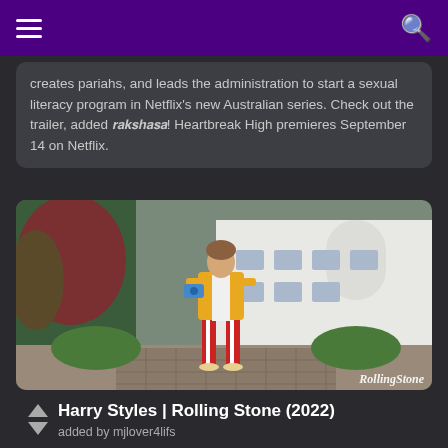Navigation bar with hamburger menu and search icon
creates pariahs, and leads the administration to start a sexual literacy program in Netflix's new Australian series. Check out the trailer, added 𝙧𝙖𝙠𝙨𝙝𝙖𝙨𝙖! Heartbreak High premieres September 14 on Netflix.
[Figure (photo): Harry Styles standing outdoors in front of a white modernist building, wearing a yellow jacket over a white top and red-and-white striped wide-leg trousers, holding a blue camera. Large trees with reddish foliage are visible on the left. Rolling Stone watermark in bottom right.]
Harry Styles | Rolling Stone (2022)
added by mjlover4lifs